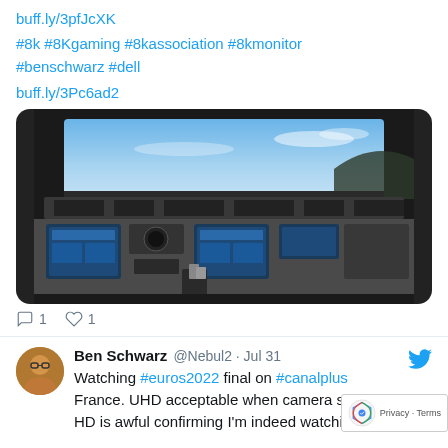buff.ly/3pfJcXK
#8k #8Kgaming #8kassociation #8kmonitor #benschwarz #dell
buff.ly/3Pc6ad2
[Figure (photo): Flight simulator cockpit view with blue sky visible through windshield and instrument panels]
1  1
Ben Schwarz @Nebul2 · Jul 31
Watching #euros2022 final on #canalplus France. UHD acceptable when camera sti HD is awful confirming I'm indeed watching